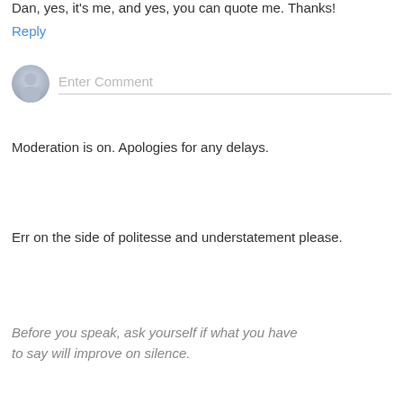Dan, yes, it's me, and yes, you can quote me. Thanks!
Reply
[Figure (illustration): User avatar placeholder icon — grey circle with a silhouette]
Enter Comment
Moderation is on. Apologies for any delays.
Err on the side of politesse and understatement please.
Before you speak, ask yourself if what you have to say will improve on silence.